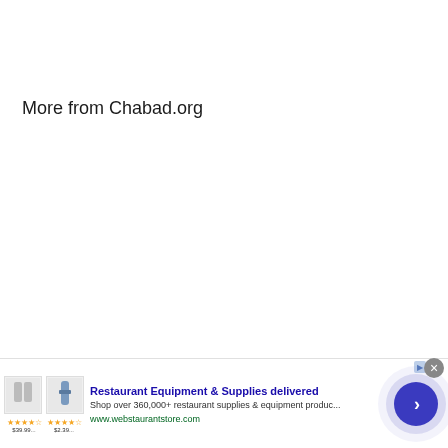More from Chabad.org
[Figure (other): Advertisement banner: Restaurant Equipment & Supplies delivered. Shop over 360,000+ restaurant supplies & equipment produc... www.webstaurantstore.com. Shows product images of glassware and a bottle. Blue circle CTA button with right arrow. AdChoices icon. Close button.]